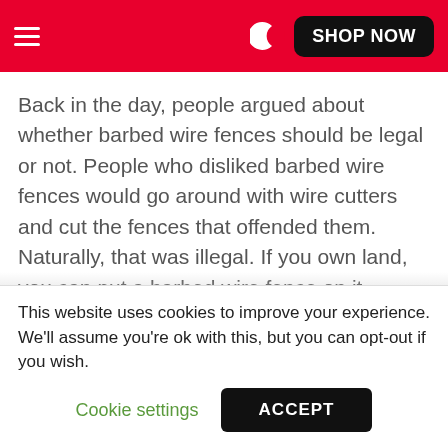≡ SHOP NOW
Back in the day, people argued about whether barbed wire fences should be legal or not. People who disliked barbed wire fences would go around with wire cutters and cut the fences that offended them. Naturally, that was illegal. If you own land, you can put a barbed wire fence on it.
But the authorities had a difficult time proving that the person accused had actually cut the fence. This was before cameras were in everyone's
This website uses cookies to improve your experience. We'll assume you're ok with this, but you can opt-out if you wish.
Cookie settings   ACCEPT